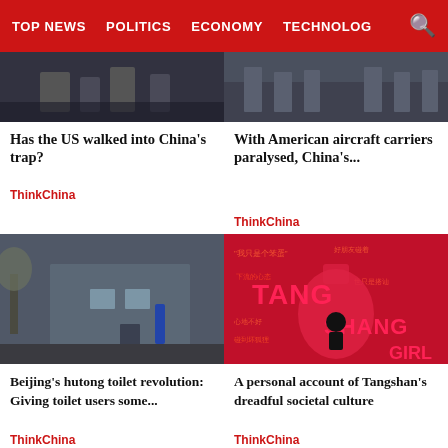TOP NEWS | POLITICS | ECONOMY | TECHNOLOG
[Figure (photo): Street scene with people walking, dark/grey tones]
Has the US walked into China's trap?
ThinkChina
[Figure (photo): Soldiers or military figures standing, outdoor scene]
With American aircraft carriers paralysed, China's...
ThinkChina
[Figure (photo): Beijing hutong exterior, grey building with trees in winter]
Beijing's hutong toilet revolution: Giving toilet users some...
ThinkChina
[Figure (photo): Graphic artwork in red and black with Chinese text and words TANG SHANG GIRL]
A personal account of Tangshan's dreadful societal culture
ThinkChina